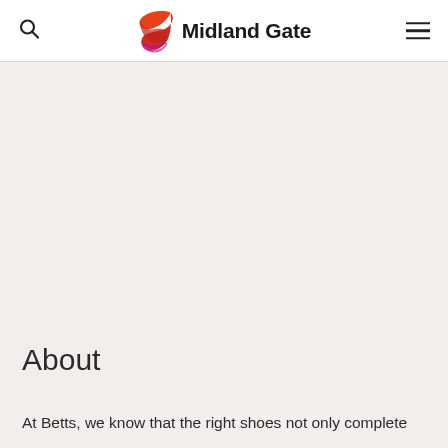Midland Gate
[Figure (logo): Midland Gate logo with a red and orange swirl ribbon graphic to the left of bold text 'Midland Gate']
About
At Betts, we know that the right shoes not only complete